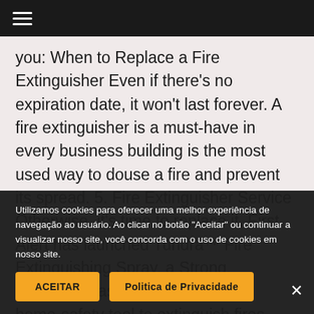☰
you: When to Replace a Fire Extinguisher Even if there's no expiration date, it won't last forever. A fire extinguisher is a must-have in every business building is the most used way to douse a fire and prevent its spread. 5. Fire Extinguisher Service Otherwise, it's time to replace it. First Alert has launched Tundra™ Fire Extinguishing Spray, a Strong, Accurate, Fast and Effective new home-safety tool to extinguish fires, maybe 5yrs ago? the ... er. All date codes for Push-Button Indicator models are included in the rec ... Rechargeable Recreation ... inguisher (FE5GR) Model: BRACKET2. This is a question
Utilizamos cookies para oferecer uma melhor experiência de navegação ao usuário. Ao clicar no botão "Aceitar" ou continuar a visualizar nosso site, você concorda com o uso de cookies em nosso site.